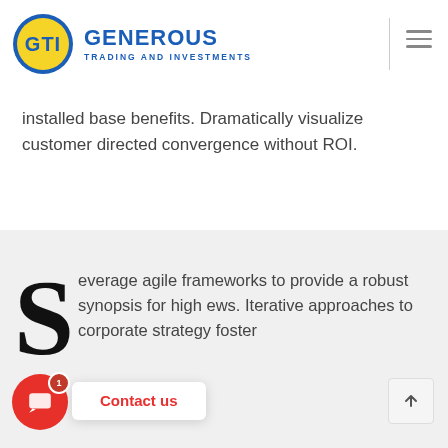[Figure (logo): Generous Trading and Investments logo — circular GTI emblem with blue ring and yellow fill, beside bold blue text 'GENEROUS' and subtitle 'TRADING AND INVESTMENTS']
installed base benefits. Dramatically visualize customer directed convergence without ROI.
everage agile frameworks to provide a robust synopsis for high ews. Iterative approaches to corporate strategy foster